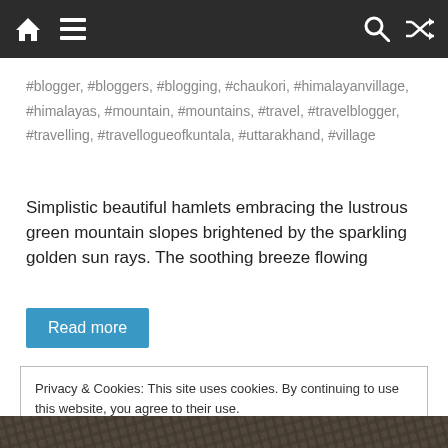Navigation bar with home, menu, search, and shuffle icons
#blogger, #bloggers, #blogging, #chaukori, #himalayanvillage, #himalayas, #mountain, #mountains, #travel, #travelblogger, #travelling, #travellogueofkuntala, #uttarakhand, #village
Simplistic beautiful hamlets embracing the lustrous green mountain slopes brightened by the sparkling golden sun rays. The soothing breeze flowing
Read more
Privacy & Cookies: This site uses cookies. By continuing to use this website, you agree to their use.
To find out more, including how to control cookies, see here: Cookie Policy
Close and accept
[Figure (photo): Rocky mountain terrain photograph strip at the bottom of the page]